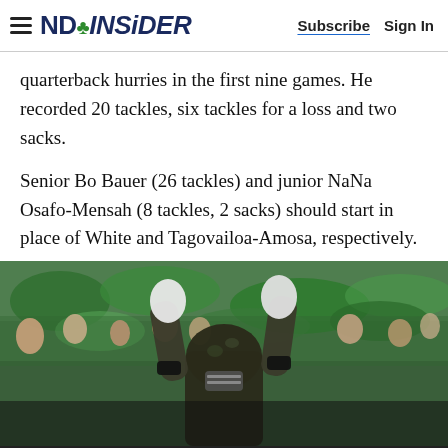NDINSiDER | Subscribe  Sign In
quarterback hurries in the first nine games. He recorded 20 tackles, six tackles for a loss and two sacks.
Senior Bo Bauer (26 tackles) and junior NaNa Osafo-Mensah (8 tackles, 2 sacks) should start in place of White and Tagovailoa-Amosa, respectively.
[Figure (photo): Notre Dame football player in camo helmet and uniform with arms raised, celebrating in front of a green-clad crowd.]
0  Subscribe  Sign in